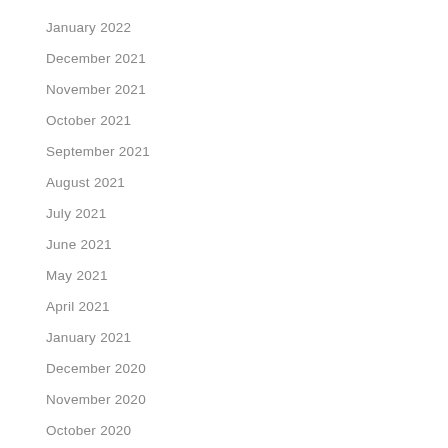January 2022
December 2021
November 2021
October 2021
September 2021
August 2021
July 2021
June 2021
May 2021
April 2021
January 2021
December 2020
November 2020
October 2020